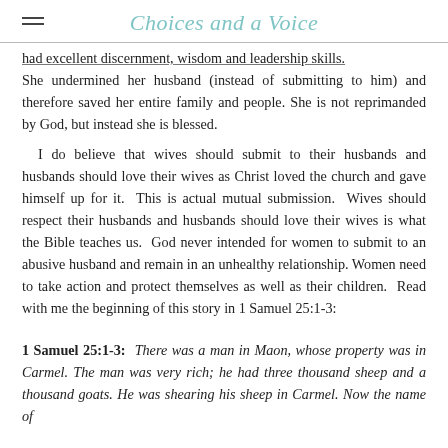Choices and a Voice
had excellent discernment, wisdom and leadership skills. She undermined her husband (instead of submitting to him) and therefore saved her entire family and people. She is not reprimanded by God, but instead she is blessed.
I do believe that wives should submit to their husbands and husbands should love their wives as Christ loved the church and gave himself up for it. This is actual mutual submission. Wives should respect their husbands and husbands should love their wives is what the Bible teaches us. God never intended for women to submit to an abusive husband and remain in an unhealthy relationship. Women need to take action and protect themselves as well as their children. Read with me the beginning of this story in 1 Samuel 25:1-3:
1 Samuel 25:1-3: There was a man in Maon, whose property was in Carmel. The man was very rich; he had three thousand sheep and a thousand goats. He was shearing his sheep in Carmel. Now the name of